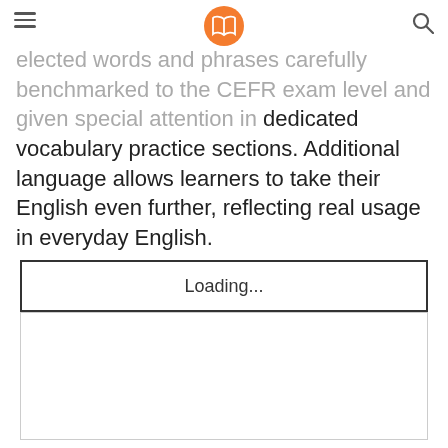[hamburger menu] [book logo] [search icon]
elected words and phrases carefully benchmarked to the CEFR exam level and given special attention in dedicated vocabulary practice sections. Additional language allows learners to take their English even further, reflecting real usage in everyday English.
Loading...
[Figure (other): Empty white content area below loading box, bordered rectangle]